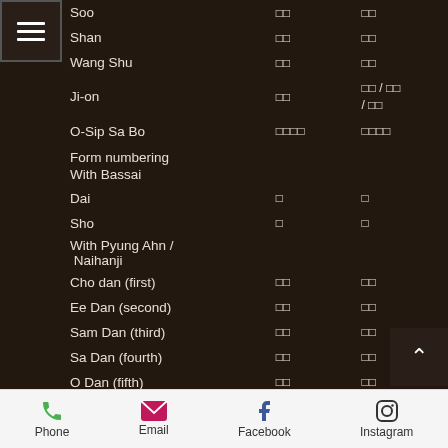| Name | CJK1 | CJK2 | English | Short |
| --- | --- | --- | --- | --- |
| Soo | □□ | □□ | Sip Soo | S |
| Shan | □□ | □□ | Sei Shan | S |
| Wang Shu | □□ | □□ | Wang Shu | W |
| Ji-on | □□ | □□ / □□ / □□ | Ji-on | J |
| O-Sip Sa Bo | □□□□ | □□□□ | O-sip Sa Bo | O |
| Form numbering |  |  |  |  |
| With Bassai |  |  |  |  |
| Dai | □ | □ | Dai | D |
| Sho | □ | □ | Sho | S |
| With Pyung Ahn / Naihanji |  |  |  |  |
| Cho dan (first) | □□ | □□ | Cho Dan | C |
| Ee Dan (second) | □□ | □□ | Ee dan | i- |
| Sam Dan (third) | □□ | □□ | Sam Dan | S |
| Sa Dan (fourth) | □□ | □□ | Sa Dan | S |
| O Dan (fifth) | □□ | □□ | O Dan | O |
| With Chil Sung |  |  |  |  |
| Il lo (first) | □ □ | □□ | Il lo | Il |
| Ee ro (second) | □ □ | □□ | Ee ro | i |
Phone  Email  Facebook  Instagram